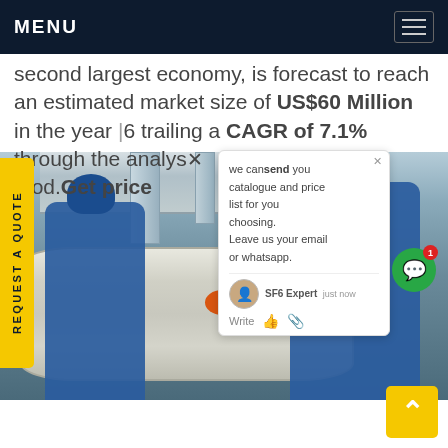MENU
second largest economy, is forecast to reach an estimated market size of US$60 Million in the year [20]26 trailing a CAGR of 7.1% through the analysis [per]iod.Get price
[Figure (photo): Two workers in blue coveralls and hard hats working on a large industrial gas vessel/pipe equipment outdoors]
we can send you catalogue and price list for you choosing. Leave us your email or whatsapp.
SF6 Expert   just now
Write